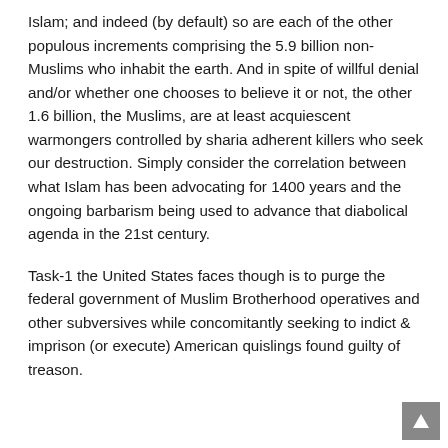Islam; and indeed (by default) so are each of the other populous increments comprising the 5.9 billion non-Muslims who inhabit the earth. And in spite of willful denial and/or whether one chooses to believe it or not, the other 1.6 billion, the Muslims, are at least acquiescent warmongers controlled by sharia adherent killers who seek our destruction. Simply consider the correlation between what Islam has been advocating for 1400 years and the ongoing barbarism being used to advance that diabolical agenda in the 21st century.
Task-1 the United States faces though is to purge the federal government of Muslim Brotherhood operatives and other subversives while concomitantly seeking to indict & imprison (or execute) American quislings found guilty of treason.